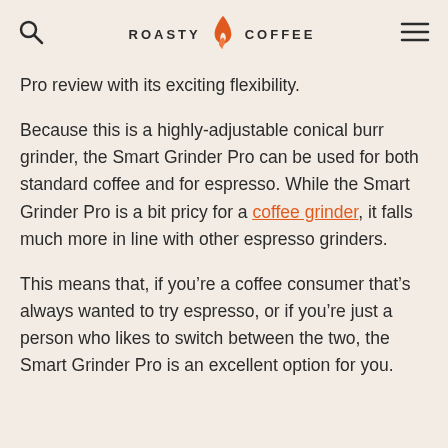ROASTY COFFEE
Pro review with its exciting flexibility.
Because this is a highly-adjustable conical burr grinder, the Smart Grinder Pro can be used for both standard coffee and for espresso. While the Smart Grinder Pro is a bit pricy for a coffee grinder, it falls much more in line with other espresso grinders.
This means that, if you’re a coffee consumer that’s always wanted to try espresso, or if you’re just a person who likes to switch between the two, the Smart Grinder Pro is an excellent option for you.